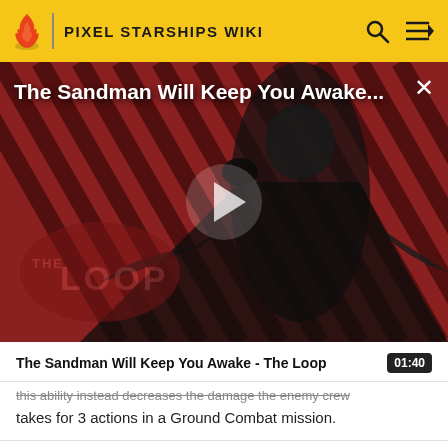PIXEL STARSHIPS WIKI
[Figure (screenshot): Video thumbnail showing a figure in black robes against a red and black diagonal striped background, with 'The Loop' logo overlay and a play button in the center]
The Sandman Will Keep You Awake...
The Sandman Will Keep You Awake - The Loop  01:40
takes for 3 actions in a Ground Combat mission.
Critical Attack